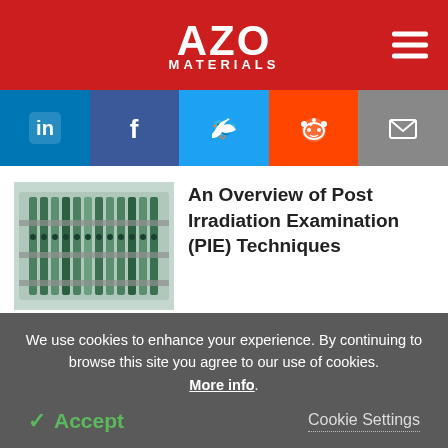AZO MATERIALS
[Figure (logo): AZo Materials logo with hamburger menu on red background]
[Figure (infographic): Social media sharing bar with LinkedIn, Facebook, Twitter, Reddit, and Email buttons]
[Figure (photo): Thumbnail image of nuclear fuel rods or irradiated material in a storage rack, green and metallic]
An Overview of Post Irradiation Examination (PIE) Techniques
Other Sites from AZoNetwork
We use cookies to enhance your experience. By continuing to browse this site you agree to our use of cookies. More info.
✓ Accept
Cookie Settings